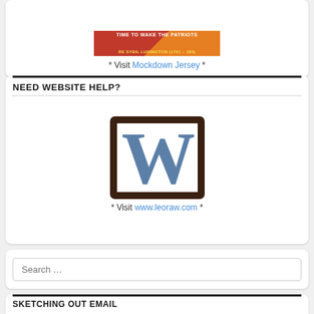[Figure (illustration): Promotional banner for 'Time to Wake the Patriots - Sybil Ludington (1761-183)' in red and orange colors]
* Visit Mockdown Jersey *
NEED WEBSITE HELP?
[Figure (logo): Logo showing a stylized W letter inside a dark square bracket frame, with steel blue color]
* Visit www.leoraw.com *
Search ...
SKETCHING OUT EMAIL